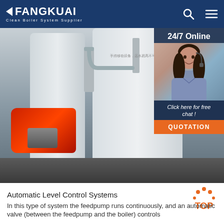FANGKUAI — Clean Boiler System Supplier
[Figure (photo): Industrial boiler system with large white cylindrical tanks and a red burner unit on a pallet. Overlay shows a customer service representative with headset and '24/7 Online' banner, 'Click here for free chat!' text, and an orange QUOTATION button.]
Automatic Level Control Systems
In this type of system the feedpump runs continuously, and an automatic valve (between the feedpump and the boiler) controls
[Figure (other): Orange TOP button with decorative dots arranged in a semicircle above it, indicating a back-to-top scroll button.]